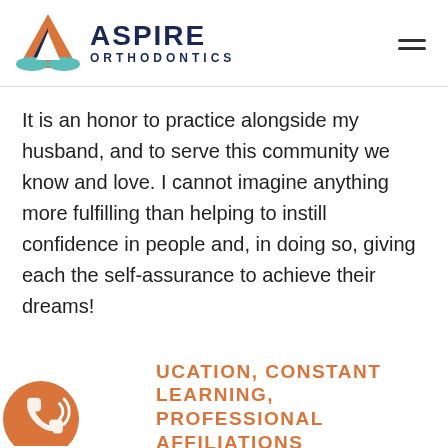[Figure (logo): Aspire Orthodontics logo with triangular mountain-like icon in orange, dark navy, and teal/green colors, with the text ASPIRE in dark navy bold caps and ORTHODONTICS below in spaced caps]
It is an honor to practice alongside my husband, and to serve this community we know and love. I cannot imagine anything more fulfilling than helping to instill confidence in people and, in doing so, giving each the self-assurance to achieve their dreams!
EDUCATION, CONSTANT LEARNING, PROFESSIONAL AFFILIATIONS